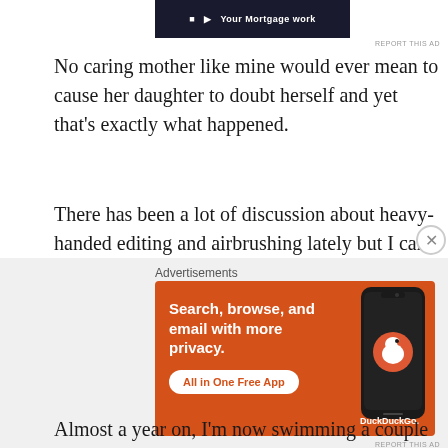[Figure (screenshot): Top advertisement banner — dark navy background with white bold text, partially cropped at top]
REPORT THIS AD
No caring mother like mine would ever mean to cause her daughter to doubt herself and yet that's exactly what happened.
There has been a lot of discussion about heavy-handed editing and airbrushing lately but I can only talk for myself and share my own experiences.
I'm only responsible for myself and only I can change how I feel about myself.
Almost a year on, I'm now swimming a couple of times
Advertisements
[Figure (screenshot): DuckDuckGo advertisement banner with orange background. Left side shows white bold text: 'Search, browse, and email with more privacy.' with a white button reading 'All in One Free App'. Right side shows a dark phone mockup with the DuckDuckGo duck logo and 'DuckDuckGo.' text.]
REPORT THIS AD